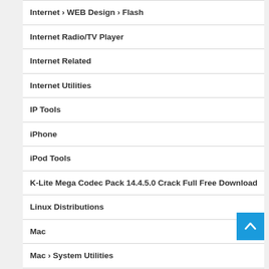Internet › WEB Design › Flash
Internet Radio/TV Player
Internet Related
Internet Utilities
IP Tools
iPhone
iPod Tools
K-Lite Mega Codec Pack 14.4.5.0 Crack Full Free Download
Linux Distributions
Mac
Mac › System Utilities